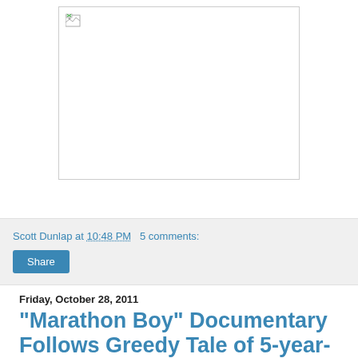[Figure (photo): Broken/missing image placeholder with a small broken image icon in top-left corner, white background with gray border]
Scott Dunlap at 10:48 PM   5 comments:
Share
Friday, October 28, 2011
"Marathon Boy" Documentary Follows Greedy Tale of 5-year-old Marathoner